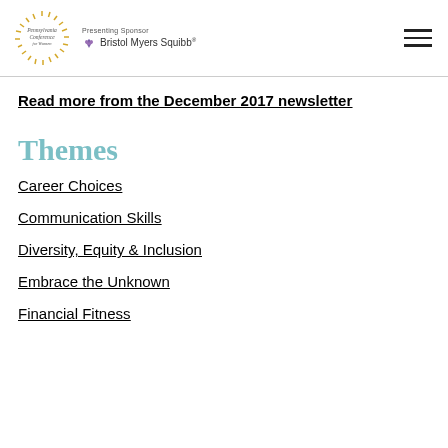Pennsylvania Conference for Women — Presenting Sponsor Bristol Myers Squibb
Read more from the December 2017 newsletter
Themes
Career Choices
Communication Skills
Diversity, Equity & Inclusion
Embrace the Unknown
Financial Fitness